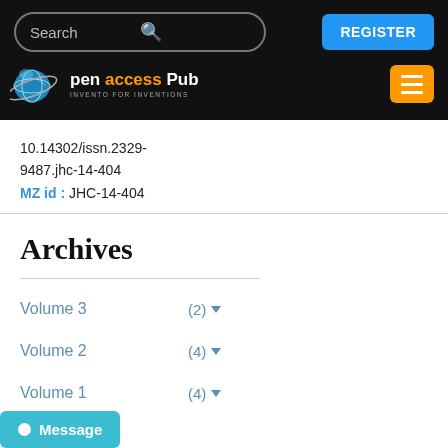[Figure (logo): Open Access Pub website header with search box, REGISTER button, logo, and hamburger menu]
10.14302/issn.2329-9487.jhc-14-404
MZ id : JHC-14-404
Archives
Volume 3  (2)
Volume 2  (4)
Volume 1  (4)